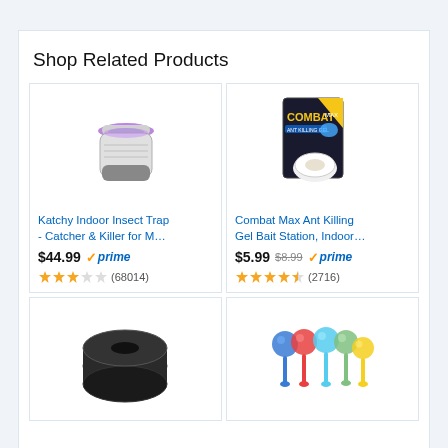Shop Related Products
[Figure (photo): Katchy Indoor Insect Trap - cylindrical white/grey device with purple UV light on top]
Katchy Indoor Insect Trap - Catcher & Killer for M…
$44.99 ✓prime (68014) 3.5 stars
[Figure (photo): Combat Max Ant Killing Gel Bait Station box with bait stations shown]
Combat Max Ant Killing Gel Bait Station, Indoor…
$5.99 $8.99 ✓prime (2716) 4 stars
[Figure (photo): Rolled black plastic sheeting]
[Figure (photo): Colorful glass watering globes - blue, red, light blue, green, yellow]